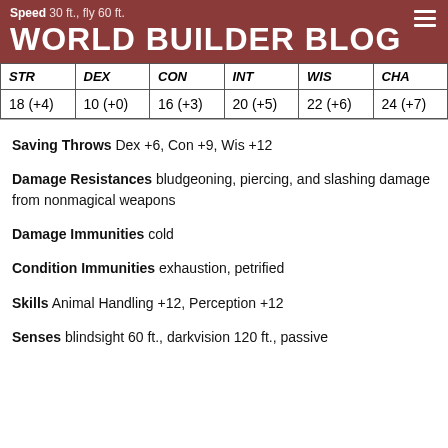Speed 30 ft., fly 60 ft.
WORLD BUILDER BLOG
| STR | DEX | CON | INT | WIS | CHA |
| --- | --- | --- | --- | --- | --- |
| 18 (+4) | 10 (+0) | 16 (+3) | 20 (+5) | 22 (+6) | 24 (+7) |
Saving Throws  Dex +6, Con +9, Wis +12
Damage Resistances  bludgeoning, piercing, and slashing damage from nonmagical weapons
Damage Immunities  cold
Condition Immunities  exhaustion, petrified
Skills  Animal Handling +12, Perception +12
Senses  blindsight 60 ft., darkvision 120 ft., passive